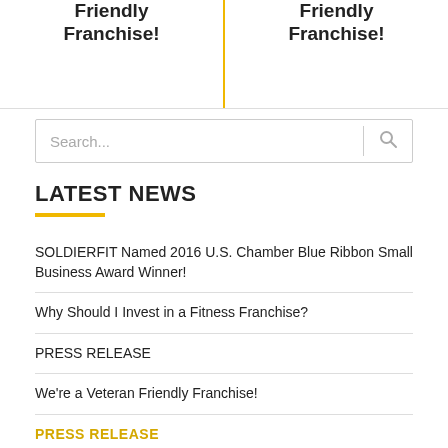Friendly Franchise!
Friendly Franchise!
[Figure (other): Search box with magnifying glass icon]
LATEST NEWS
SOLDIERFIT Named 2016 U.S. Chamber Blue Ribbon Small Business Award Winner!
Why Should I Invest in a Fitness Franchise?
PRESS RELEASE
We're a Veteran Friendly Franchise!
PRESS RELEASE
ARCHIVES